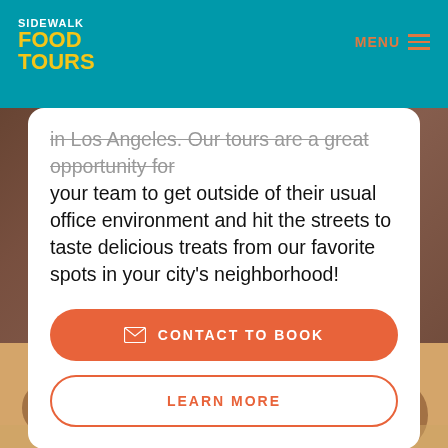SIDEWALK FOOD TOURS — MENU
in Los Angeles. Our tours are a great opportunity for your team to get outside of their usual office environment and hit the streets to taste delicious treats from our favorite spots in your city's neighborhood!
[Figure (screenshot): Orange rounded button with envelope icon and text CONTACT TO BOOK]
[Figure (screenshot): Outlined orange rounded button with text LEARN MORE]
[Figure (photo): Group of people laughing and dining together at a restaurant table]